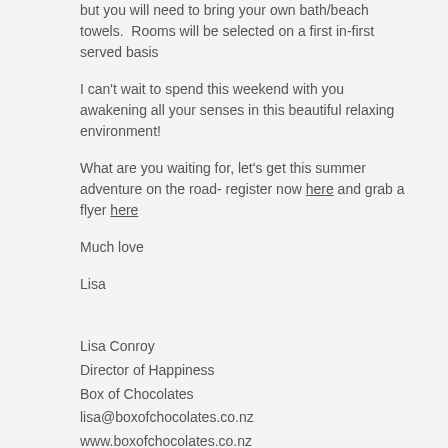but you will need to bring your own bath/beach towels.  Rooms will be selected on a first in-first served basis
I can't wait to spend this weekend with you awakening all your senses in this beautiful relaxing environment!
What are you waiting for, let's get this summer adventure on the road- register now here and grab a flyer here
Much love
Lisa
Lisa Conroy
Director of Happiness
Box of Chocolates
lisa@boxofchocolates.co.nz
www.boxofchocolates.co.nz